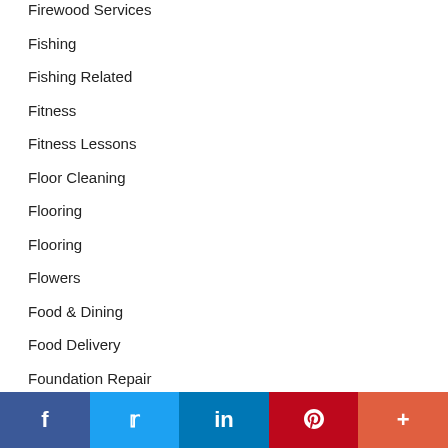Firewood Services
Fishing
Fishing Related
Fitness
Fitness Lessons
Floor Cleaning
Flooring
Flooring
Flowers
Food & Dining
Food Delivery
Foundation Repair
Foundations
Freelancers
[Figure (other): Social sharing bar with Facebook, Twitter, LinkedIn, Pinterest, and More buttons]